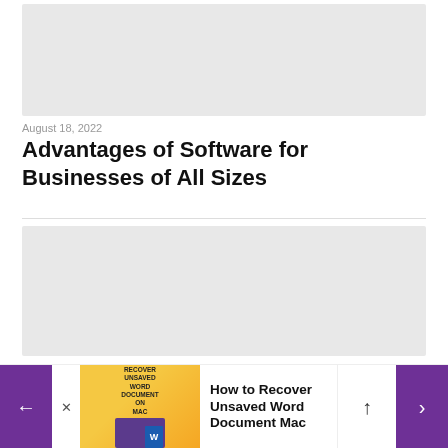[Figure (other): Gray advertisement placeholder banner at top of page]
August 18, 2022
Advantages of Software for Businesses of All Sizes
[Figure (other): Gray advertisement placeholder banner in middle of page]
[Figure (other): Related article navigation bar at bottom: How to Recover Unsaved Word Document Mac, with purple navigation arrows and article thumbnail]
How to Recover Unsaved Word Document Mac